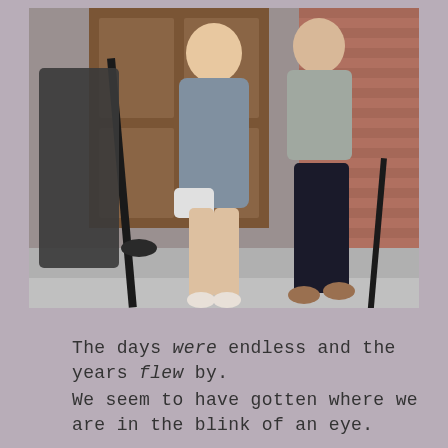[Figure (photo): Photo of people standing on steps in front of a wooden door and brick wall. A woman in a gray wrap dress holding a white purse stands in the center, with another person in dark pants and a gray jacket to the right, and a third person partially visible at the left rear.]
The days were endless and the years flew by.
We seem to have gotten where we are in the blink of an eye.